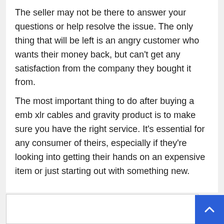The seller may not be there to answer your questions or help resolve the issue. The only thing that will be left is an angry customer who wants their money back, but can't get any satisfaction from the company they bought it from.
The most important thing to do after buying a emb xlr cables and gravity product is to make sure you have the right service. It's essential for any consumer of theirs, especially if they're looking into getting their hands on an expensive item or just starting out with something new.